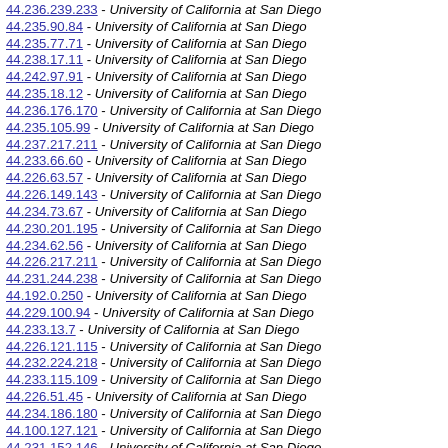44.236.239.233 - University of California at San Diego
44.235.90.84 - University of California at San Diego
44.235.77.71 - University of California at San Diego
44.238.17.11 - University of California at San Diego
44.242.97.91 - University of California at San Diego
44.235.18.12 - University of California at San Diego
44.236.176.170 - University of California at San Diego
44.235.105.99 - University of California at San Diego
44.237.217.211 - University of California at San Diego
44.233.66.60 - University of California at San Diego
44.226.63.57 - University of California at San Diego
44.226.149.143 - University of California at San Diego
44.234.73.67 - University of California at San Diego
44.230.201.195 - University of California at San Diego
44.234.62.56 - University of California at San Diego
44.226.217.211 - University of California at San Diego
44.231.244.238 - University of California at San Diego
44.192.0.250 - University of California at San Diego
44.229.100.94 - University of California at San Diego
44.233.13.7 - University of California at San Diego
44.226.121.115 - University of California at San Diego
44.232.224.218 - University of California at San Diego
44.233.115.109 - University of California at San Diego
44.226.51.45 - University of California at San Diego
44.234.186.180 - University of California at San Diego
44.100.127.121 - University of California at San Diego
44.231.152.146 - University of California at San Diego
44.229.49.43 - University of California at San Diego
44.231.43.37 - University of California at San Diego
44.228.9.3 - University of California at San Diego